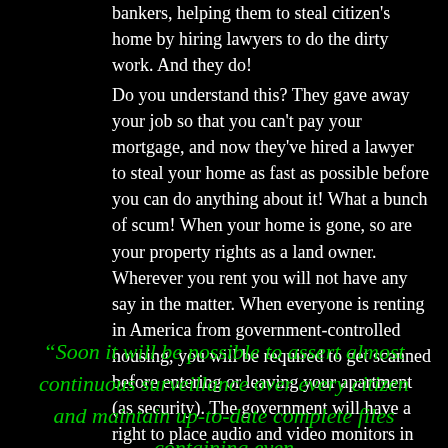bankers, helping them to steal citizen's home by hiring lawyers to do the dirty work. And they do!
Do you understand this? They gave away your job so that you can't pay your mortgage, and now they've hired a lawyer to steal your home as fast as possible before you can do anything about it! What a bunch of scum! When your home is gone, so are your property rights as a land owner. Wherever you rent you will not have any say in the matter. When everyone is renting in America from government-controlled housing, you will be required to get scanned before entering or leaving your apartment (as security). The government will have a right to place audio and video monitors in your residence. The bogus terrorist fearmongering is just getting started in America. They're using this as an excuse to butt into everyone's business!
“Soon it will be possible to assert almost continuous surveillance over every citizen and maintain up-to-date complete files containing even